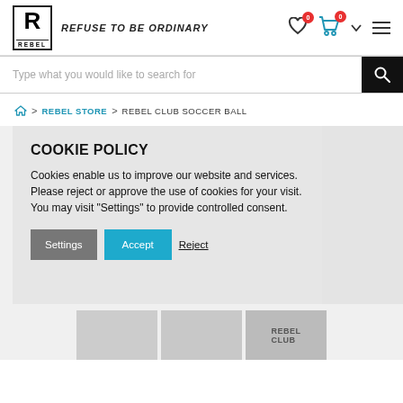REBEL - REFUSE TO BE ORDINARY
Type what you would like to search for
REBEL STORE > REBEL CLUB SOCCER BALL
COOKIE POLICY
Cookies enable us to improve our website and services. Please reject or approve the use of cookies for your visit. You may visit "Settings" to provide controlled consent.